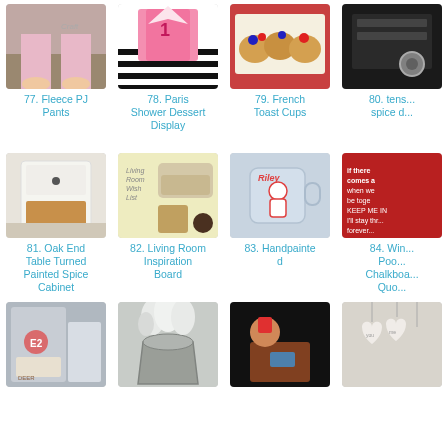[Figure (photo): Photo of person in pink fleece PJ pants sitting on couch]
77. Fleece PJ Pants
[Figure (photo): Pink gift boxes on black and white striped background - Paris shower dessert display]
78. Paris Shower Dessert Display
[Figure (photo): French toast cups with berries on red plate]
79. French Toast Cups
[Figure (photo): Spice related item - partially visible]
80. tens... spice d...
[Figure (photo): White painted oak end table / spice cabinet]
81. Oak End Table Turned Painted Spice Cabinet
[Figure (photo): Living Room Wish List inspiration board collage]
82. Living Room Inspiration Board
[Figure (photo): Handpainted glass mug with dog named Riley]
83. Handpainted
[Figure (photo): Red chalkboard with inspirational quote]
84. Win... Poo... Chalkboa... Quo...
[Figure (photo): DIY deer craft sign]
[Figure (photo): Metal bucket with white flowers]
[Figure (photo): Child at table with craft item]
[Figure (photo): White ceramic heart ornaments]